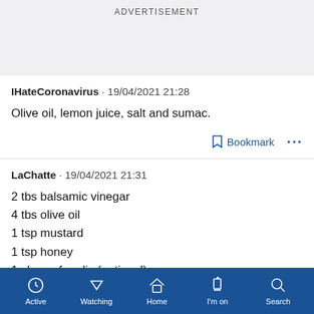ADVERTISEMENT
IHateCoronavirus · 19/04/2021 21:28
Olive oil, lemon juice, salt and sumac.
Bookmark ...
LaChatte · 19/04/2021 21:31
2 tbs balsamic vinegar
4 tbs olive oil
1 tsp mustard
1 tsp honey
1 clove of garlic (optional)
Active  Watching  Home  I'm on  Search